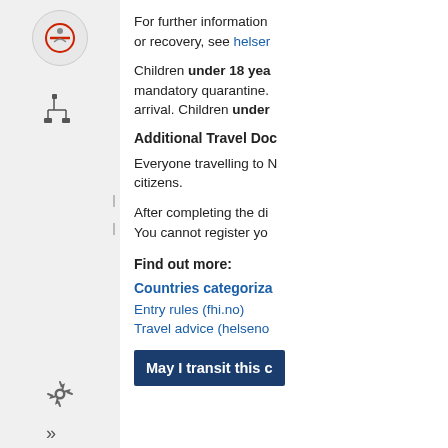[Figure (other): Sidebar with icons: quarantine/no-entry circle icon, tree/hierarchy icon, drag handle, settings gear icon, and double-arrow icon]
For further information or recovery, see helser
Children under 18 yea mandatory quarantine. arrival. Children under
Additional Travel Doc
Everyone travelling to N citizens.
After completing the di You cannot register yo
Find out more:
Countries categorization
Entry rules (fhi.no)
Travel advice (helseno
May I transit this c